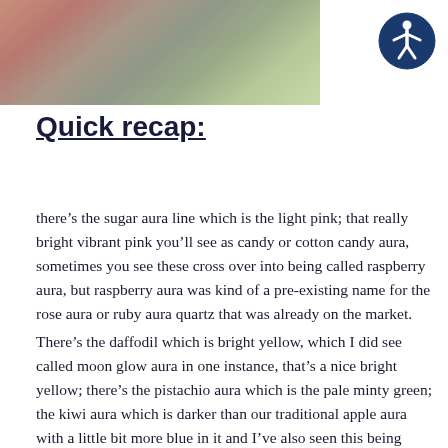[Figure (photo): Photo of crystals/quartz stones on a grey textured surface, showing pink/red and green colored aura quartz pieces]
[Figure (logo): Accessibility icon — white stick figure in a circle on a dark blue background]
Quick recap:
there’s the sugar aura line which is the light pink; that really bright vibrant pink you’ll see as candy or cotton candy aura, sometimes you see these cross over into being called raspberry aura, but raspberry aura was kind of a pre-existing name for the rose aura or ruby aura quartz that was already on the market.
There’s the daffodil which is bright yellow, which I did see called moon glow aura in one instance, that’s a nice bright yellow; there’s the pistachio aura which is the pale minty green; the kiwi aura which is darker than our traditional apple aura with a little bit more blue in it and I’ve also seen this being called verde aura, the Spanish word for green; then there’s this sunset, is uh, an peach aura which is this